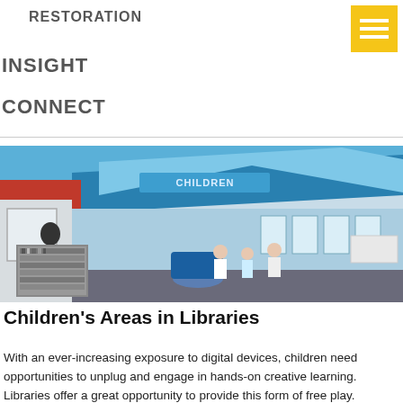RESTORATION
INSIGHT
CONNECT
[Figure (illustration): Architectural rendering of a children's library area with blue-themed interior design, showing an open space with the word CHILDREN on a sign, people walking, and a small black-and-white inset photo of library shelves in the lower left corner.]
Children's Areas in Libraries
With an ever-increasing exposure to digital devices, children need opportunities to unplug and engage in hands-on creative learning. Libraries offer a great opportunity to provide this form of free play.